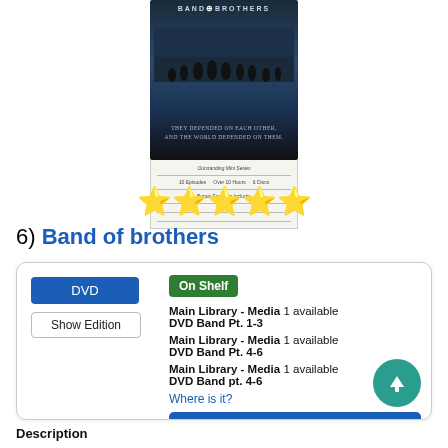[Figure (photo): DVD cover of Band of Brothers showing silhouetted soldiers against dark background with tagline 'They depended on each other, and the world depended on them.' Outstanding Mini Series label, with details below.]
★★★★★
6) Band of brothers
DVD | On Shelf | Main Library - Media 1 available | DVD Band Pt. 1-3 | Main Library - Media 1 available | DVD Band Pt. 4-6 | Main Library - Media 1 available | DVD Band pt. 4-6 | Where is it? | Place Hold | Show Edition
Description